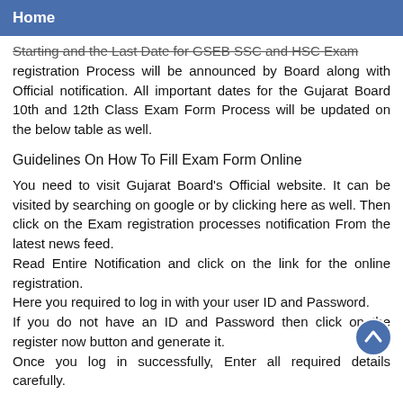Home
Starting and the Last Date for GSEB SSC and HSC Exam registration Process will be announced by Board along with Official notification. All important dates for the Gujarat Board 10th and 12th Class Exam Form Process will be updated on the below table as well.
Guidelines On How To Fill Exam Form Online
You need to visit Gujarat Board's Official website. It can be visited by searching on google or by clicking here as well. Then click on the Exam registration processes notification From the latest news feed. Read Entire Notification and click on the link for the online registration. Here you required to log in with your user ID and Password. If you do not have an ID and Password then click on the register now button and generate it. Once you log in successfully, Enter all required details carefully.